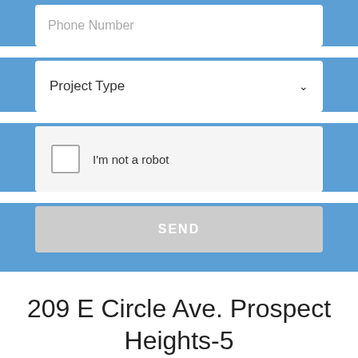[Figure (screenshot): Phone Number input field (placeholder text), part of a web contact form on a blue background]
[Figure (screenshot): Project Type dropdown selector on a blue background]
[Figure (screenshot): CAPTCHA checkbox with label 'I'm not a robot' on a blue background]
[Figure (screenshot): SEND button (gray) on a blue background]
209 E Circle Ave. Prospect Heights-5
[Figure (photo): Partial photo of bare winter trees against a light sky, cropped at bottom of page]